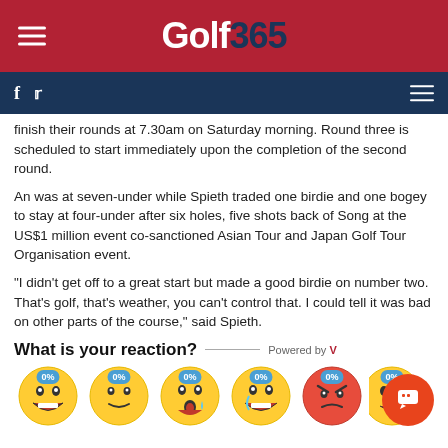Golf365
finish their rounds at 7.30am on Saturday morning. Round three is scheduled to start immediately upon the completion of the second round.
An was at seven-under while Spieth traded one birdie and one bogey to stay at four-under after six holes, five shots back of Song at the US$1 million event co-sanctioned Asian Tour and Japan Golf Tour Organisation event.
"I didn't get off to a great start but made a good birdie on number two. That's golf, that's weather, you can't control that. I could tell it was bad on other parts of the course," said Spieth.
What is your reaction?
[Figure (infographic): Reaction emoji row with five emoji faces, each with a blue badge showing 0%]